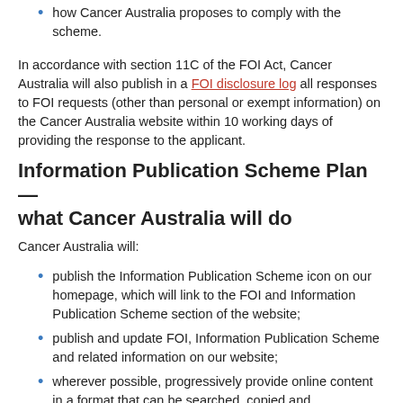how Cancer Australia proposes to comply with the scheme.
In accordance with section 11C of the FOI Act, Cancer Australia will also publish in a FOI disclosure log all responses to FOI requests (other than personal or exempt information) on the Cancer Australia website within 10 working days of providing the response to the applicant.
Information Publication Scheme Plan — what Cancer Australia will do
Cancer Australia will:
publish the Information Publication Scheme icon on our homepage, which will link to the FOI and Information Publication Scheme section of the website;
publish and update FOI, Information Publication Scheme and related information on our website;
wherever possible, progressively provide online content in a format that can be searched, copied and